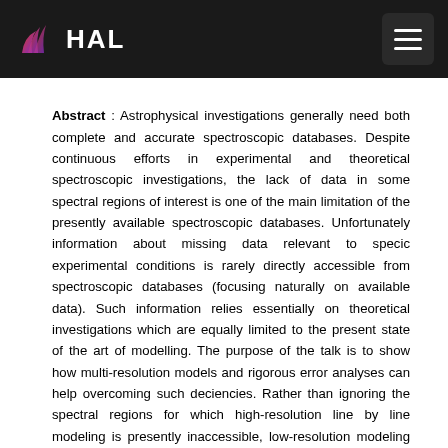HAL
Abstract : Astrophysical investigations generally need both complete and accurate spectroscopic databases. Despite continuous efforts in experimental and theoretical spectroscopic investigations, the lack of data in some spectral regions of interest is one of the main limitation of the presently available spectroscopic databases. Unfortunately information about missing data relevant to specic experimental conditions is rarely directly accessible from spectroscopic databases (focusing naturally on available data). Such information relies essentially on theoretical investigations which are equally limited to the present state of the art of modelling. The purpose of the talk is to show how multi-resolution models and rigorous error analyses can help overcoming such deciencies. Rather than ignoring the spectral regions for which high-resolution line by line modeling is presently inaccessible, low-resolution modeling can be exploited for the sake of exhaustivity which represents a major issue in many astrophysical applications. In parallel, a rigorous quantitative estimation of uncertainties, also essential for applications, represents the second key feature of this approach. The error propagation from predicted line positions and intensities onto simulated spectra will be described in detail based on multi-resolution global analyses using an effective Hamiltonian approach. The procedure makes extensive use of statistical numerical experiments. It is illustrated on methane which is present in the atmospheres of many astrophysical objects. The modeling of the methane absorption coecient in the near infrared and/or at high temperature